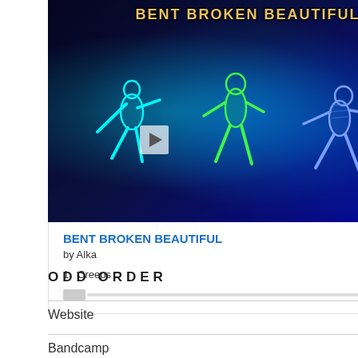[Figure (illustration): Album art for 'Bent Broken Beautiful' by Alka showing three glowing neon figures dancing against a dark blue circuit board background, with the album title at the top. Includes a play button overlay.]
BENT BROKEN BEAUTIFUL
by Alka
1. Creeps   00:00 / 05:07
ODD ORDER
Website
Bandcamp